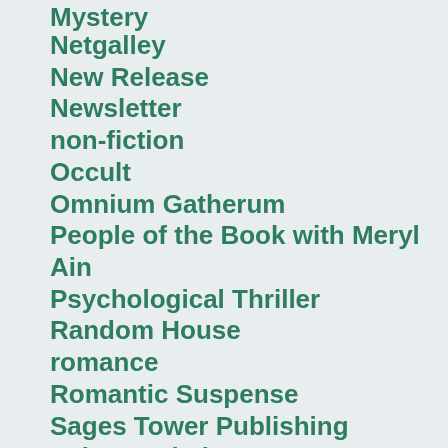Mystery
Netgalley
New Release
Newsletter
non-fiction
Occult
Omnium Gatherum
People of the Book with Meryl Ain
Psychological Thriller
Random House
romance
Romantic Suspense
Sages Tower Publishing
Science Fiction
Serena's Favorites
She Writes Press
Sourcebooks
Sourcebooks Candl...